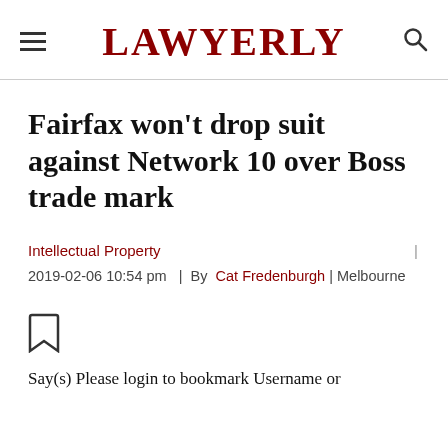LAWYERLY
Fairfax won't drop suit against Network 10 over Boss trade mark
Intellectual Property
2019-02-06 10:54 pm  |  By  Cat Fredenburgh | Melbourne
[Figure (illustration): Bookmark icon (unfilled)]
Say(s) Please login to bookmark Username or